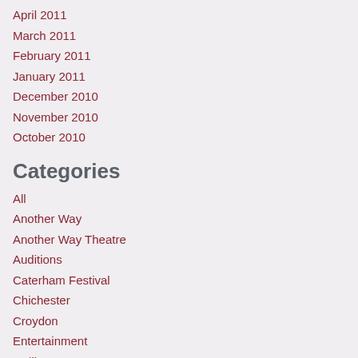April 2011
March 2011
February 2011
January 2011
December 2010
November 2010
October 2010
Categories
All
Another Way
Another Way Theatre
Auditions
Caterham Festival
Chichester
Croydon
Entertainment
Gulliver
Gulliver's Travels
Gulliver's Travels
Hoxton Hall